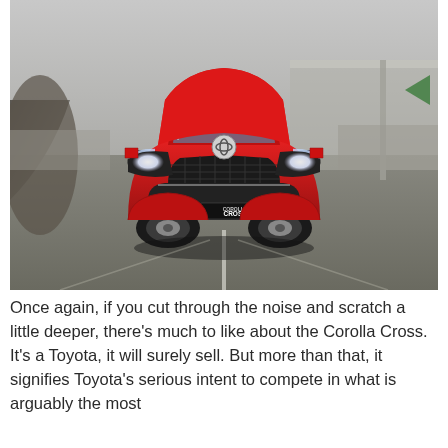[Figure (photo): A red Toyota Corolla Cross SUV driving head-on toward the camera on a road, with a concrete barrier and overpass visible in the background. The vehicle displays a 'COROLLA CROSS' badge on its front bumper.]
Once again, if you cut through the noise and scratch a little deeper, there's much to like about the Corolla Cross. It's a Toyota, it will surely sell. But more than that, it signifies Toyota's serious intent to compete in what is arguably the most